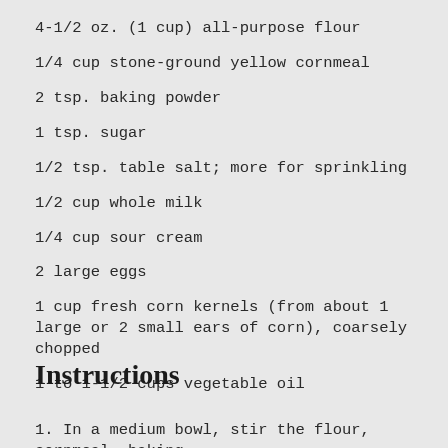4-1/2 oz. (1 cup) all-purpose flour
1/4 cup stone-ground yellow cornmeal
2 tsp. baking powder
1 tsp. sugar
1/2 tsp. table salt; more for sprinkling
1/2 cup whole milk
1/4 cup sour cream
2 large eggs
1 cup fresh corn kernels (from about 1 large or 2 small ears of corn), coarsely chopped
1 to 1-1/2 cups vegetable oil
Instructions
1. In a medium bowl, stir the flour, cornmeal, baking